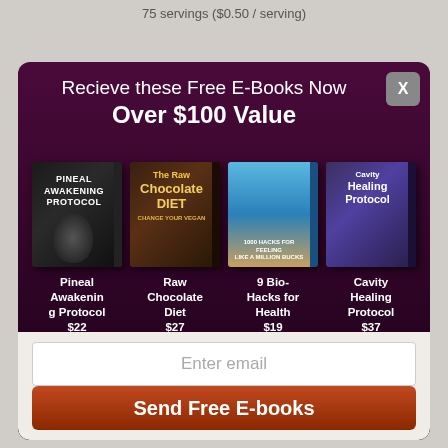75 servings ($0.50 / serving)
Recieve these Free E-Books Now Over $100 Value
[Figure (illustration): Four e-book covers displayed side by side: Pineal Awakening Protocol, Raw Chocolate Diet, 9 Bio-Hacks for Health, Cavity Healing Protocol]
Pineal Awakening Protocol $22
Raw Chocolate Diet $27
9 Bio-Hacks for Health $19
Cavity Healing Protocol $37
Enter email
Send Free E-books